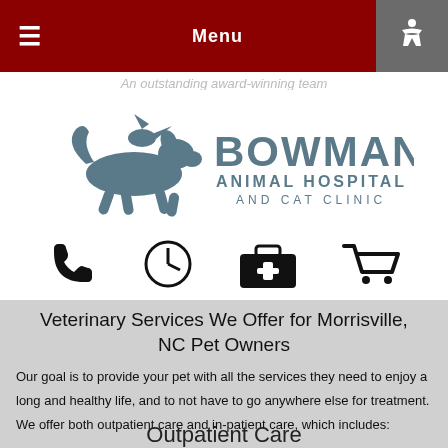Menu
[Figure (logo): Bowman Animal Hospital and Cat Clinic logo with dog and bird graphic]
[Figure (infographic): Four icons: phone, clock, medical kit, shopping cart]
Veterinary Services We Offer for Morrisville, NC Pet Owners
Our goal is to provide your pet with all the services they need to enjoy a long and healthy life, and to not have to go anywhere else for treatment. We offer both outpatient care and in-patient care, which includes:
Outpatient Care